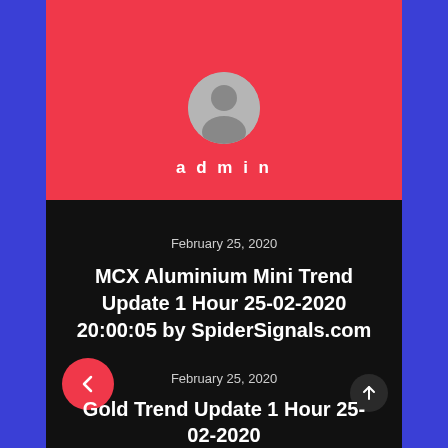[Figure (illustration): User avatar icon — gray circle with silhouette of a person]
admin
February 25, 2020
MCX Aluminium Mini Trend Update 1 Hour 25-02-2020 20:00:05 by SpiderSignals.com
February 25, 2020
Gold Trend Update 1 Hour 25-02-2020